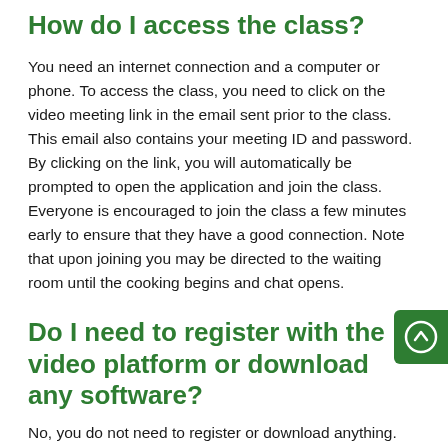How do I access the class?
You need an internet connection and a computer or phone. To access the class, you need to click on the video meeting link in the email sent prior to the class. This email also contains your meeting ID and password. By clicking on the link, you will automatically be prompted to open the application and join the class. Everyone is encouraged to join the class a few minutes early to ensure that they have a good connection. Note that upon joining you may be directed to the waiting room until the cooking begins and chat opens.
Do I need to register with the video platform or download any software?
No, you do not need to register or download anything.